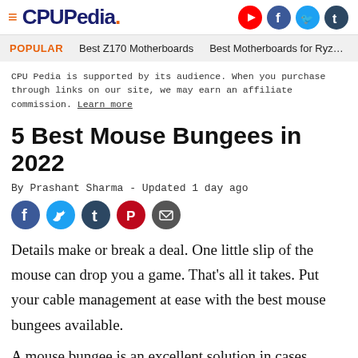CPUPedia.
POPULAR   Best Z170 Motherboards   Best Motherboards for Ryz...
CPU Pedia is supported by its audience. When you purchase through links on our site, we may earn an affiliate commission. Learn more
5 Best Mouse Bungees in 2022
By Prashant Sharma - Updated 1 day ago
[Figure (other): Social share buttons: Facebook, Twitter, Tumblr, Pinterest, Email]
Details make or break a deal. One little slip of the mouse can drop you a game. That’s all it takes. Put your cable management at ease with the best mouse bungees available.
A mouse bungee is an excellent solution in cases where